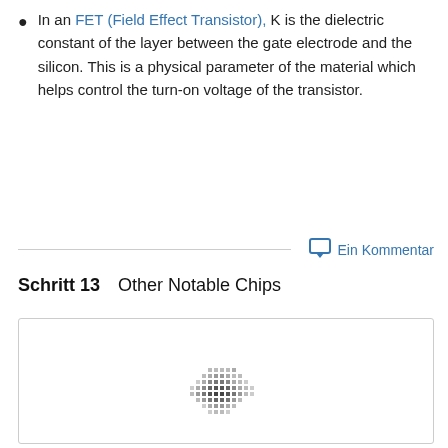In an FET (Field Effect Transistor), K is the dielectric constant of the layer between the gate electrode and the silicon. This is a physical parameter of the material which helps control the turn-on voltage of the transistor.
Ein Kommentar
Schritt 13    Other Notable Chips
[Figure (photo): A partially visible image of chips, showing a dot/pixel pattern at the bottom center, inside a rounded-corner bordered box.]